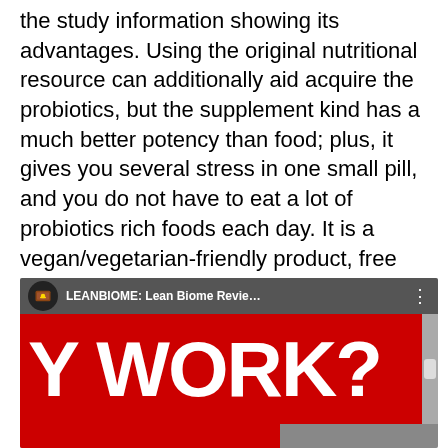the study information showing its advantages. Using the original nutritional resource can additionally aid acquire the probiotics, but the supplement kind has a much better potency than food; plus, it gives you several stress in one small pill, and you do not have to eat a lot of probiotics rich foods each day. It is a vegan/vegetarian-friendly product, free from nuts, soy, dairy, BPAs, and genetically customized active ingredients.
[Figure (screenshot): YouTube video thumbnail screenshot showing a video titled 'LEANBIOME: Lean Biome Revie...' with large white text 'Y WORK?' on a red background, with a channel icon, options dots, and a scrollbar on the right.]